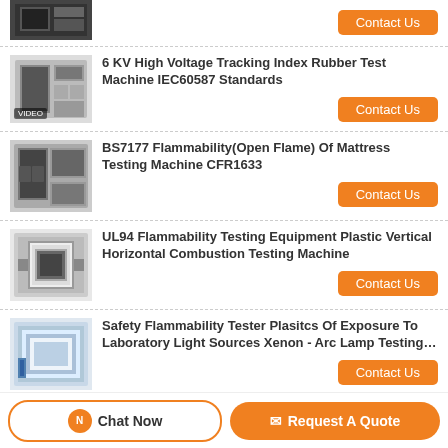[Figure (photo): Partial product image at top of list - testing machine]
Contact Us
[Figure (photo): 6 KV High Voltage Tracking Index Rubber Test Machine with VIDEO badge]
6 KV High Voltage Tracking Index Rubber Test Machine IEC60587 Standards
Contact Us
[Figure (photo): BS7177 Flammability Open Flame Of Mattress Testing Machine CFR1633]
BS7177 Flammability(Open Flame) Of Mattress Testing Machine CFR1633
Contact Us
[Figure (photo): UL94 Flammability Testing Equipment Plastic Vertical Horizontal Combustion Testing Machine]
UL94 Flammability Testing Equipment Plastic Vertical Horizontal Combustion Testing Machine
Contact Us
[Figure (photo): Safety Flammability Tester Plastics xenon arc lamp testing machine]
Safety Flammability Tester Plasitcs Of Exposure To Laboratory Light Sources Xenon - Arc Lamp Testing…
Contact Us
Chat Now
Request A Quote